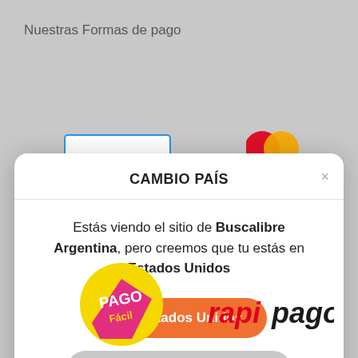Nuestras Formas de pago
[Figure (screenshot): Partial payment form with blue-bordered card input field and Mastercard logo visible behind modal]
CAMBIO PAÍS
Estás viendo el sitio de Buscalibre Argentina, pero creemos que tu estás en Estados Unidos
Ir a Estados Unidos
Quedarme en Buscalibre Argentina
[Figure (logo): Pago Fácil yellow circular logo with magenta and white text]
[Figure (logo): Rapipago logo in red and black text]